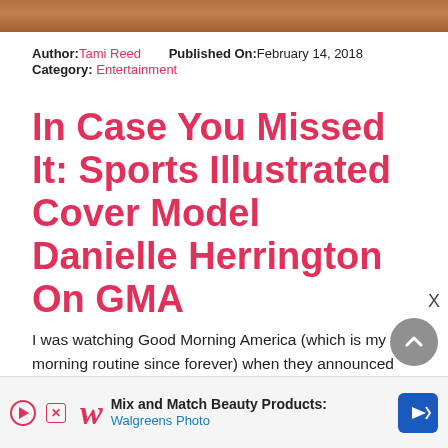[Figure (photo): Top banner image showing a wooden surface or background, partially cropped]
Author: Tami Reed   Published On: February 14, 2018
Category: Entertainment
In Case You Missed It: Sports Illustrated Cover Model Danielle Herrington On GMA
I was watching Good Morning America (which is my morning routine since forever) when they announced that 24-year old Model Danielle Herrington just made the cover of Sports Illustrated swimsuit edition! She is now the third African American that has graced the cover and she is such a cutie pie! From California she was over the [...]
[Figure (infographic): Advertisement banner for Walgreens Photo — Mix and Match Beauty Products, with Walgreens logo and navigation icon]